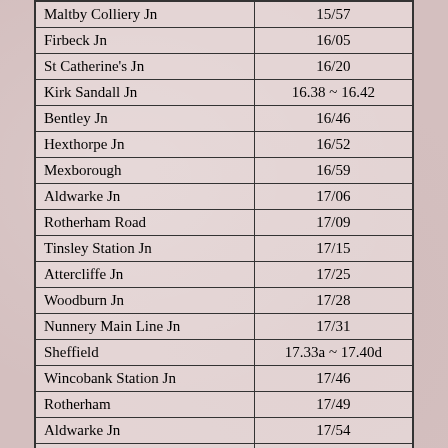| Location | Time |
| --- | --- |
| Maltby Colliery Jn | 15/57 |
| Firbeck Jn | 16/05 |
| St Catherine's Jn | 16/20 |
| Kirk Sandall Jn | 16.38 ~ 16.42 |
| Bentley Jn | 16/46 |
| Hexthorpe Jn | 16/52 |
| Mexborough | 16/59 |
| Aldwarke Jn | 17/06 |
| Rotherham Road | 17/09 |
| Tinsley Station Jn | 17/15 |
| Attercliffe Jn | 17/25 |
| Woodburn Jn | 17/28 |
| Nunnery Main Line Jn | 17/31 |
| Sheffield | 17.33a ~ 17.40d |
| Wincobank Station Jn | 17/46 |
| Rotherham | 17/49 |
| Aldwarke Jn | 17/54 |
| Cudworth | 18/08 |
| Goose Hill Jn | 18/25 |